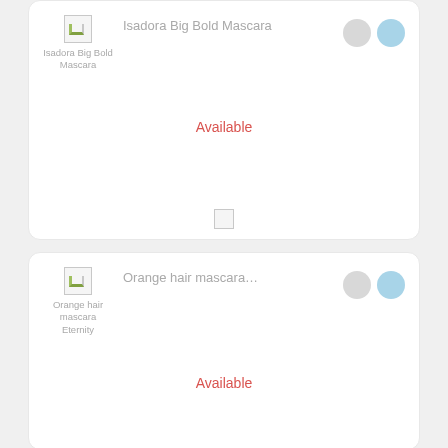[Figure (screenshot): Product card 1: broken image thumbnail labeled 'Isadora Big Bold Mascara', product name 'Isadora Big Bold Mascara', two circles (gray and blue), status 'Available' in red, and a small broken image at bottom]
[Figure (screenshot): Product card 2: broken image thumbnail labeled 'Orange hair mascara Eternity', product name 'Orange hair mascara...', two circles (gray and blue), status 'Available' in red]